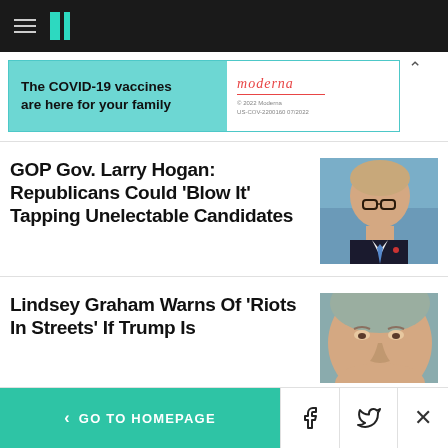HuffPost navigation bar with hamburger menu and logo
[Figure (other): Moderna COVID-19 vaccine advertisement banner: 'The COVID-19 vaccines are here for your family' on teal background with Moderna logo on white background]
GOP Gov. Larry Hogan: Republicans Could 'Blow It' Tapping Unelectable Candidates
[Figure (photo): Photo of Larry Hogan, man with glasses and blue tie against blue background]
Lindsey Graham Warns Of 'Riots In Streets' If Trump Is
[Figure (photo): Close-up photo of Lindsey Graham's face]
< GO TO HOMEPAGE | Facebook | Twitter | X (close)